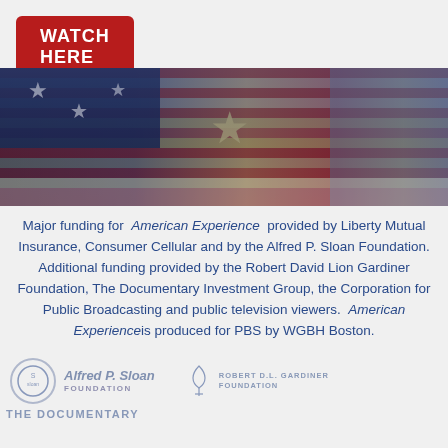[Figure (other): Red button with text WATCH HERE]
[Figure (photo): Photograph of American flags close-up with stars and red/white/blue stripes, with a vintage/sepia tone overlay]
Major funding for American Experience provided by Liberty Mutual Insurance, Consumer Cellular and by the Alfred P. Sloan Foundation. Additional funding provided by the Robert David Lion Gardiner Foundation, The Documentary Investment Group, the Corporation for Public Broadcasting and public television viewers. American Experience is produced for PBS by WGBH Boston.
[Figure (logo): Alfred P. Sloan Foundation logo with circular seal and text]
[Figure (logo): Robert David Lion Gardiner Foundation logo]
[Figure (logo): The Documentary Investment Group logo text]